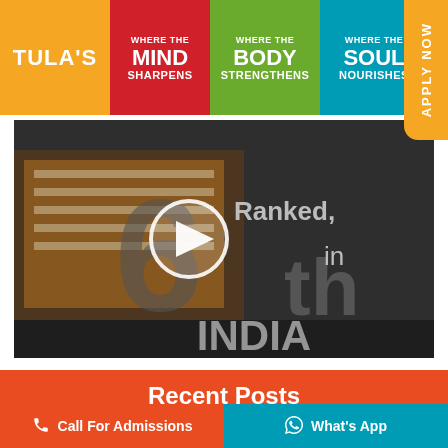[Figure (infographic): Tula's Institute header banner with four colored blocks: orange TULA'S, red WHERE THE MIND SHARPENS, green WHERE THE BODY STRENGTHENS, blue WHERE THE SOUL NOURISHES, and an orange APPLY NOW vertical tab on the right]
[Figure (screenshot): Video thumbnail showing Tula's Institute campus building with overlay text 'Ranked 6th in INDIA' and a play button in the center]
Recent Posts
Call For Admissions   What's App